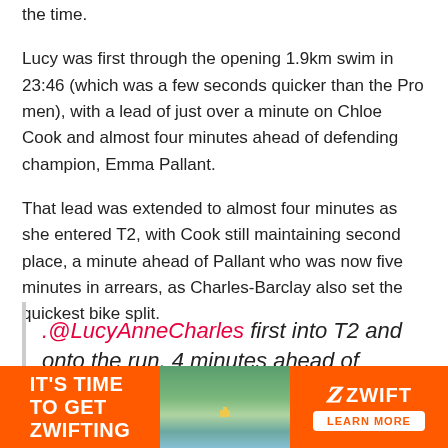the time.
Lucy was first through the opening 1.9km swim in 23:46 (which was a few seconds quicker than the Pro men), with a lead of just over a minute on Chloe Cook and almost four minutes ahead of defending champion, Emma Pallant.
That lead was extended to almost four minutes as she entered T2, with Cook still maintaining second place, a minute ahead of Pallant who was now five minutes in arrears, as Charles-Barclay also set the quickest bike split.
.@LucyAnneCharles first into T2 and onto the run, 4 minutes ahead of
[Figure (infographic): Zwift advertisement banner: orange background, 'IT'S TIME TO GET ZWIFTING' text on left, landscape photo in center, Zwift logo and 'LEARN MORE' button on right]